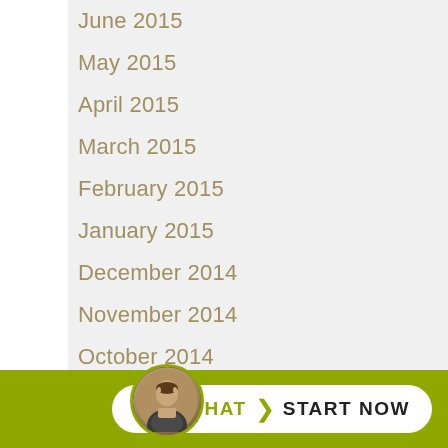June 2015
May 2015
April 2015
March 2015
February 2015
January 2015
December 2014
November 2014
October 2014
September 2014
August 2014
July 2014
June 2014
May
[Figure (photo): Circular avatar photo of a man in a suit, used for live chat widget]
LIVE CHAT > START NOW